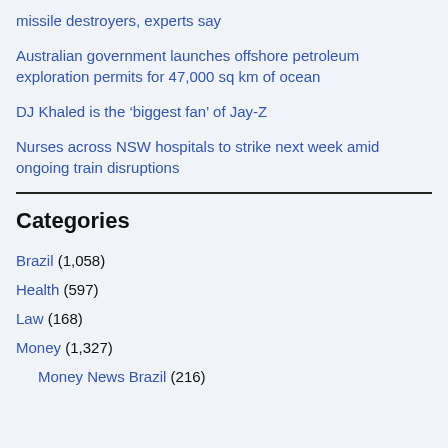missile destroyers, experts say
Australian government launches offshore petroleum exploration permits for 47,000 sq km of ocean
DJ Khaled is the ‘biggest fan’ of Jay-Z
Nurses across NSW hospitals to strike next week amid ongoing train disruptions
Categories
Brazil (1,058)
Health (597)
Law (168)
Money (1,327)
Money News Brazil (216)